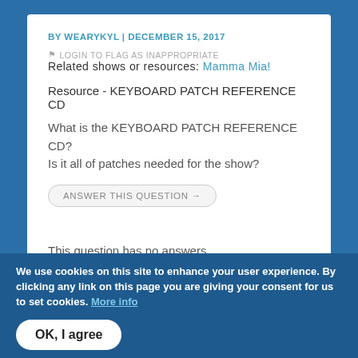BY WEARYKYL | DECEMBER 15, 2017
LOGIN TO FLAG AS INAPPROPRIATE Related shows or resources: Mamma Mia!
Resource - KEYBOARD PATCH REFERENCE CD
What is the KEYBOARD PATCH REFERENCE CD? Is it all of patches needed for the show?
ANSWER THIS QUESTION →
This question has no answers
We use cookies on this site to enhance your user experience. By clicking any link on this page you are giving your consent for us to set cookies. More info
OK, I agree